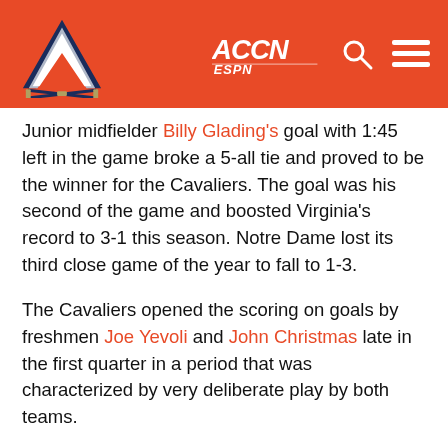[Figure (logo): University of Virginia and ACCN ESPN header with UVA V logo on orange background]
Junior midfielder Billy Glading's goal with 1:45 left in the game broke a 5-all tie and proved to be the winner for the Cavaliers. The goal was his second of the game and boosted Virginia's record to 3-1 this season. Notre Dame lost its third close game of the year to fall to 1-3.
The Cavaliers opened the scoring on goals by freshmen Joe Yevoli and John Christmas late in the first quarter in a period that was characterized by very deliberate play by both teams.
Things picked up early in the second quarter as goals by Brian Giordano and Dan Berger enabled Notre Dame to knot the score at two. The tie was short-lived, however, as A.J. Shannon scored 70 seconds later on a blistering effort from the left side that froze goalie Nick Antol.